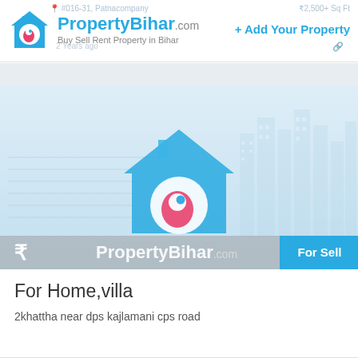[Figure (logo): PropertyBihar.com logo with house icon, tagline: Buy Sell Rent Property in Bihar]
+ Add Your Property
[Figure (photo): PropertyBihar.com branded placeholder image with house logo watermark, city skyline silhouette background, rupee symbol and For Sell badge]
For Home,villa
2khattha near dps kajlamani cps road